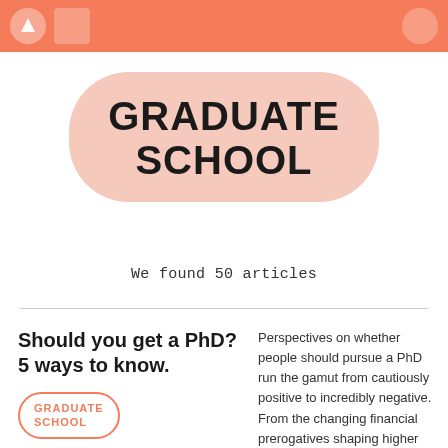GRADUATE SCHOOL
We found 50 articles
Should you get a PhD? 5 ways to know.
GRADUATE SCHOOL
Perspectives on whether people should pursue a PhD run the gamut from cautiously positive to incredibly negative. From the changing financial prerogatives shaping higher education, the